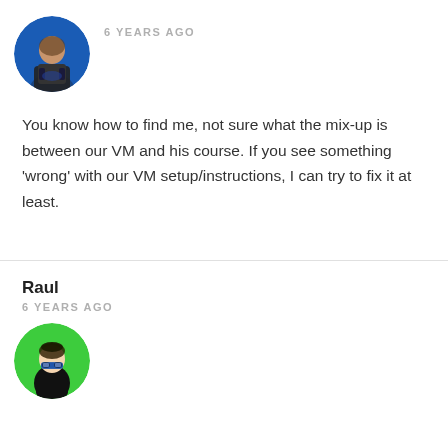[Figure (photo): Circular avatar of a person standing on stage with blue background, wearing dark jacket]
6 YEARS AGO
You know how to find me, not sure what the mix-up is between our VM and his course. If you see something 'wrong' with our VM setup/instructions, I can try to fix it at least.
Raul
6 YEARS AGO
[Figure (illustration): Circular avatar with green background showing a cartoon illustration of a person with glasses and dark hair]